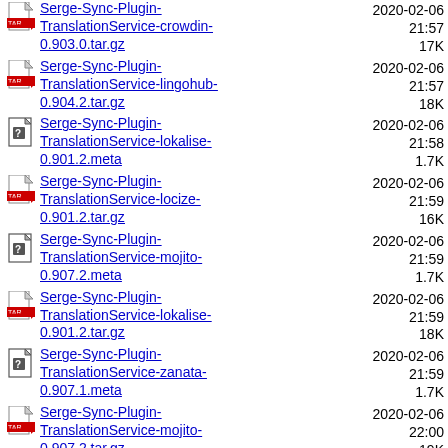Serge-Sync-Plugin-TranslationService-crowdin-0.903.0.tar.gz 2020-02-06 21:57 17K
Serge-Sync-Plugin-TranslationService-lingohub-0.904.2.tar.gz 2020-02-06 21:57 18K
Serge-Sync-Plugin-TranslationService-lokalise-0.901.2.meta 2020-02-06 21:58 1.7K
Serge-Sync-Plugin-TranslationService-locize-0.901.2.tar.gz 2020-02-06 21:59 16K
Serge-Sync-Plugin-TranslationService-mojito-0.907.2.meta 2020-02-06 21:59 1.7K
Serge-Sync-Plugin-TranslationService-lokalise-0.901.2.tar.gz 2020-02-06 21:59 18K
Serge-Sync-Plugin-TranslationService-zanata-0.907.1.meta 2020-02-06 21:59 1.7K
Serge-Sync-Plugin-TranslationService-mojito-0.907.2.tar.gz 2020-02-06 22:00 19K